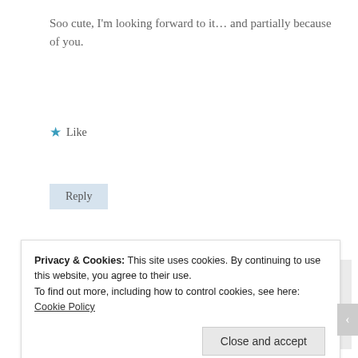Soo cute, I'm looking forward to it… and partially because of you.
★ Like
Reply
Chibi Yuuto says: December 6, 2008 at 2130
Privacy & Cookies: This site uses cookies. By continuing to use this website, you agree to their use. To find out more, including how to control cookies, see here: Cookie Policy
Close and accept